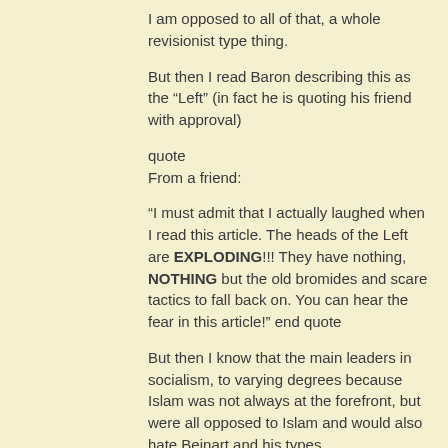I am opposed to all of that, a whole revisionist type thing.
But then I read Baron describing this as the “Left” (in fact he is quoting his friend with approval)
quote
From a friend:
“I must admit that I actually laughed when I read this article. The heads of the Left are EXPLODING!!! They have nothing, NOTHING but the old bromides and scare tactics to fall back on. You can hear the fear in this article!” end quote
But then I know that the main leaders in socialism, to varying degrees because Islam was not always at the forefront, but were all opposed to Islam and would also hate Beinart and his types.
But that blanket phrase of the “Left” is always meant to include me.
Spencer and Pamela do it also all the time, their favourite word is “Leftists”, and indeed unity is not possible with these insults to me.